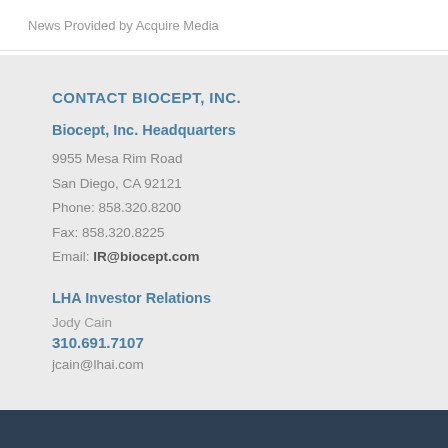News Provided by Acquire Media
CONTACT BIOCEPT, INC.
Biocept, Inc. Headquarters
9955 Mesa Rim Road
San Diego, CA 92121
Phone: 858.320.8200
Fax: 858.320.8225
Email: IR@biocept.com
LHA Investor Relations
Jody Cain
310.691.7107
jcain@lhai.com